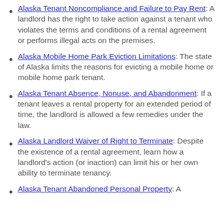Alaska Tenant Noncompliance and Failure to Pay Rent: A landlord has the right to take action against a tenant who violates the terms and conditions of a rental agreement or performs illegal acts on the premises.
Alaska Mobile Home Park Eviction Limitations: The state of Alaska limits the reasons for evicting a mobile home or mobile home park tenant.
Alaska Tenant Absence, Nonuse, and Abandonment: If a tenant leaves a rental property for an extended period of time, the landlord is allowed a few remedies under the law.
Alaska Landlord Waiver of Right to Terminate: Despite the existence of a rental agreement, learn how a landlord's action (or inaction) can limit his or her own ability to terminate tenancy.
Alaska Tenant Abandoned Personal Property: A